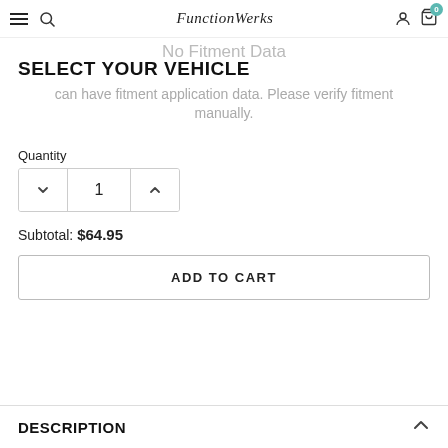FunctionWerks — navigation bar with hamburger, search, logo, user, cart (0)
No Fitment Data
SELECT YOUR VEHICLE
can have fitment application data. Please verify fitment manually.
Quantity
1
Subtotal: $64.95
ADD TO CART
DESCRIPTION